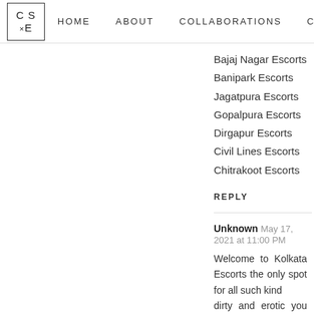CS×E | HOME | ABOUT | COLLABORATIONS | CONTA
Bajaj Nagar Escorts
Banipark Escorts
Jagatpura Escorts
Gopalpura Escorts
Dirgapur Escorts
Civil Lines Escorts
Chitrakoot Escorts
REPLY
Unknown May 17, 2021 at 11:00 PM
Welcome to Kolkata Escorts the only spot for all such kind dirty and erotic you can imagine, our call girls have imagination true. The intention of our call girls is clear and give a broad satisfied smile on the face of our customers. T in their respective fields.
Kolkata Escorts:
Kolkata Escorts | Kolkata Independent Escorts | Kolkata